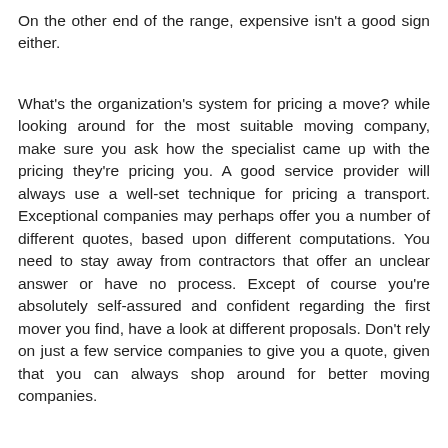On the other end of the range, expensive isn't a good sign either.
What's the organization's system for pricing a move? while looking around for the most suitable moving company, make sure you ask how the specialist came up with the pricing they're pricing you. A good service provider will always use a well-set technique for pricing a transport. Exceptional companies may perhaps offer you a number of different quotes, based upon different computations. You need to stay away from contractors that offer an unclear answer or have no process. Except of course you're absolutely self-assured and confident regarding the first mover you find, have a look at different proposals. Don't rely on just a few service companies to give you a quote, given that you can always shop around for better moving companies.